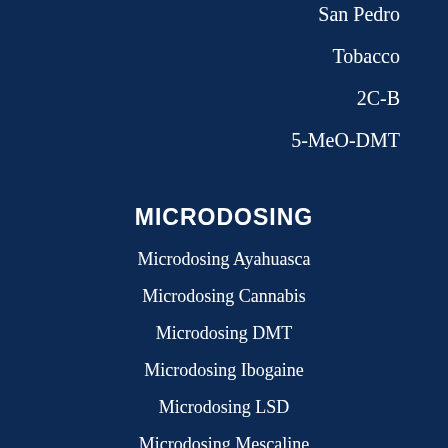San Pedro
Tobacco
2C-B
5-MeO-DMT
MICRODOSING
Microdosing Ayahuasca
Microdosing Cannabis
Microdosing DMT
Microdosing Ibogaine
Microdosing LSD
Microdosing Mescaline
Microdosing Psilocybin Mushrooms
HOW TO GROW
Grow Psilocybin Mushrooms